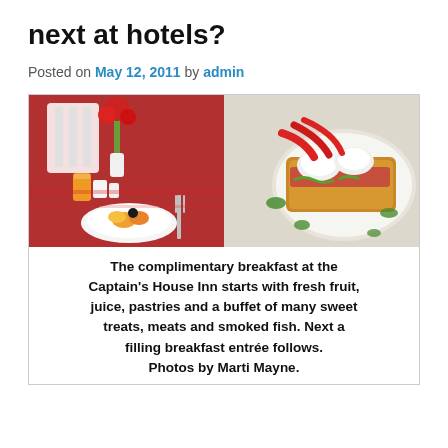next at hotels?
Posted on May 12, 2011 by admin
[Figure (photo): Two side-by-side food photos: left shows a red-tablecloth breakfast table setting with orange juice and a fruit dish; right shows a gourmet breakfast entrée on a white plate with poached eggs, red peppers, and green sauce drizzle.]
The complimentary breakfast at the Captain's House Inn starts with fresh fruit, juice, pastries and a buffet of many sweet treats, meats and smoked fish. Next a filling breakfast entrée follows.
Photos by Marti Mayne.